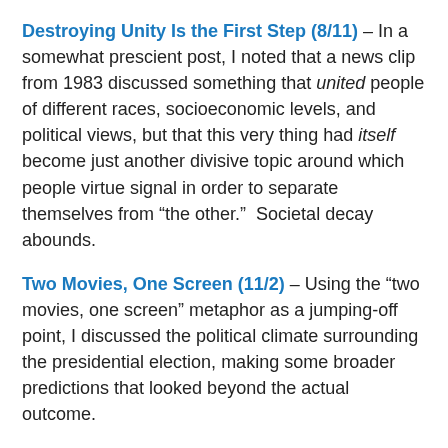Destroying Unity Is the First Step (8/11) – In a somewhat prescient post, I noted that a news clip from 1983 discussed something that united people of different races, socioeconomic levels, and political views, but that this very thing had itself become just another divisive topic around which people virtue signal in order to separate themselves from “the other.”  Societal decay abounds.
Two Movies, One Screen (11/2) – Using the “two movies, one screen” metaphor as a jumping-off point, I discussed the political climate surrounding the presidential election, making some broader predictions that looked beyond the actual outcome.
The Worst Possible Outcome (OR: The Baby Hitler Hypothetical) (11/6) – And the inevitable companion piece to “Two Movies, One Screen.”  Here, I detail the